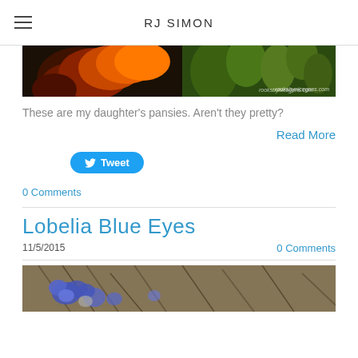RJ SIMON
[Figure (photo): Close-up photo of colorful pansies and green plants with dark red, orange, and yellow blooms against a blue background]
These are my daughter's pansies. Aren't they pretty?
Read More
[Figure (other): Tweet button with Twitter bird icon]
0 Comments
Lobelia Blue Eyes
11/5/2015
0 Comments
[Figure (photo): Photo of blue lobelia flowers among dried straw/grass with a small stone visible]